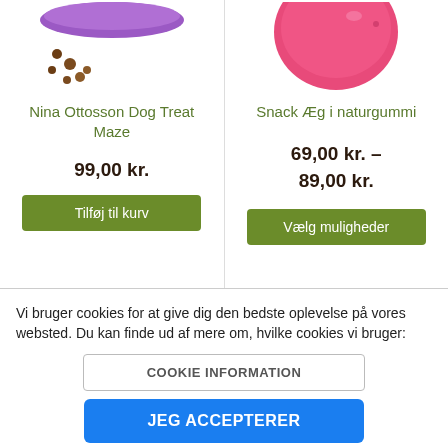[Figure (photo): Top portion of Nina Ottosson Dog Treat Maze product with purple bowl and brown kibble pieces visible]
[Figure (photo): Top portion of pink rubber egg-shaped dog toy (Snack Æg i naturgummi)]
Nina Ottosson Dog Treat Maze
99,00 kr.
Tilføj til kurv
Snack Æg i naturgummi
69,00 kr. – 89,00 kr.
Vælg muligheder
Vi bruger cookies for at give dig den bedste oplevelse på vores websted. Du kan finde ud af mere om, hvilke cookies vi bruger:
COOKIE INFORMATION
JEG ACCEPTERER